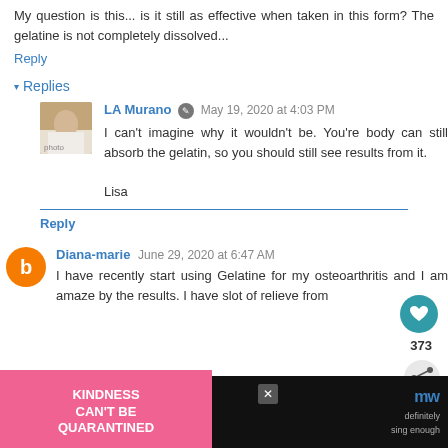My question is this... is it still as effective when taken in this form? The gelatine is not completely dissolved...
Reply
▾ Replies
LA Murano  May 19, 2020 at 4:03 PM
I can't imagine why it wouldn't be. You're body can still absorb the gelatin, so you should still see results from it.

Lisa
Reply
Diana-marie  June 29, 2020 at 6:47 AM
I have recently start using Gelatine for my osteoarthritis and I am amaze by the results. I have slot of relieve from
[Figure (infographic): Advertisement banner: pink section with 'KINDNESS CAN'T BE QUARANTINED' text, dark background with Merriam-Webster logo and share icon]
373